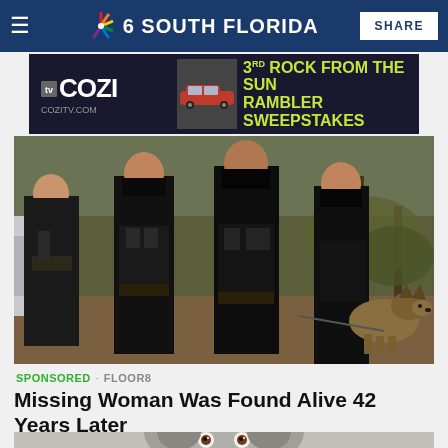NBC 6 South Florida
[Figure (other): COZI TV advertisement - 3rd Rock from the Sun Rambler Sweepstakes banner ad with COZITV.COM url and image of a red classic car]
[Figure (photo): Three police officers in black uniforms standing outdoors near trees and a vehicle, with a German Shepherd police dog sitting to the right]
SPONSORED · FLOOR8
Missing Woman Was Found Alive 42 Years Later
[Figure (photo): Close-up photo of a scruffy gray and white terrier dog looking up at camera, with kitchen cabinets visible in background]